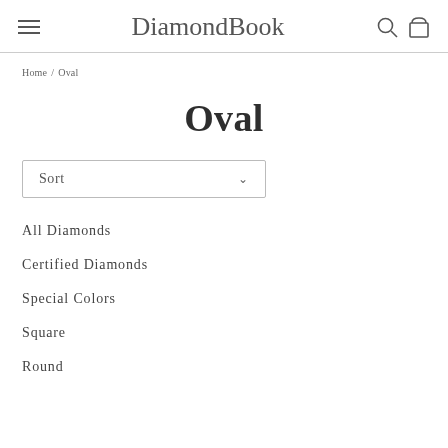DiamondBook
Home / Oval
Oval
Sort
All Diamonds
Certified Diamonds
Special Colors
Square
Round